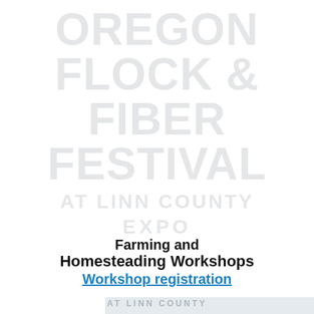[Figure (illustration): Background watermark text reading OREGON FLOCK & FIBER FESTIVAL AT LINN COUNTY EXPO in large light gray letters]
Farming and Homesteading Workshops
Workshop registration
WS 216 FAMACHA Training
Friday 9:00 AM - Noon
Level: All welcome · Cost: $65
Instructor: Dr. Charles Estill
FAMACHA is a diagnostic tool to help you identify parasite infection in small